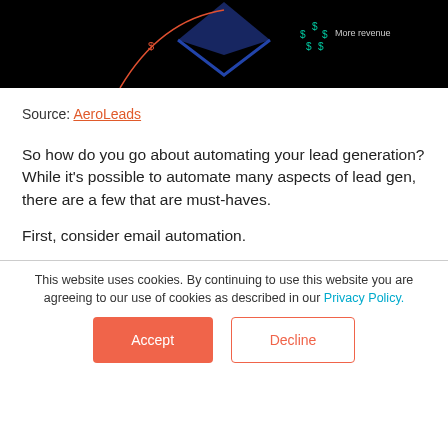[Figure (screenshot): Black background image strip showing dollar signs in teal and a dark blue diamond/arrow shape, with 'More revenue' text on the right side.]
Source: AeroLeads
So how do you go about automating your lead generation? While it's possible to automate many aspects of lead gen, there are a few that are must-haves.
First, consider email automation.
This website uses cookies. By continuing to use this website you are agreeing to our use of cookies as described in our Privacy Policy.